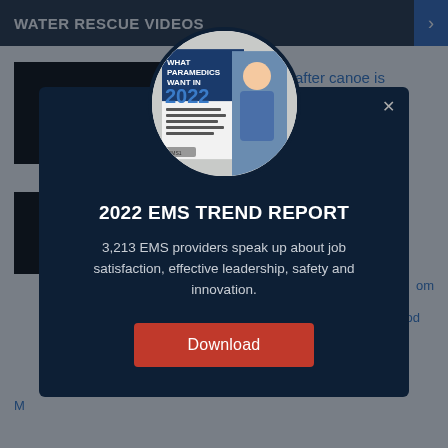WATER RESCUE VIDEOS
3 teens rescued after canoe is swept into waterfall
[Figure (screenshot): A dark modal popup overlay on a news website. The modal has a dark navy background with a circular image of the 2022 EMS Trend Report cover showing a paramedic, a title '2022 EMS TREND REPORT', descriptive text, and a red Download button.]
2022 EMS TREND REPORT
3,213 EMS providers speak up about job satisfaction, effective leadership, safety and innovation.
Download